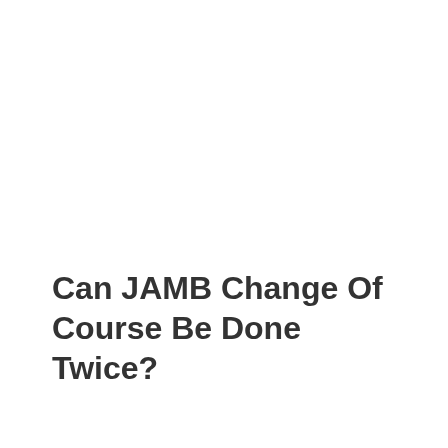Can JAMB Change Of Course Be Done Twice?